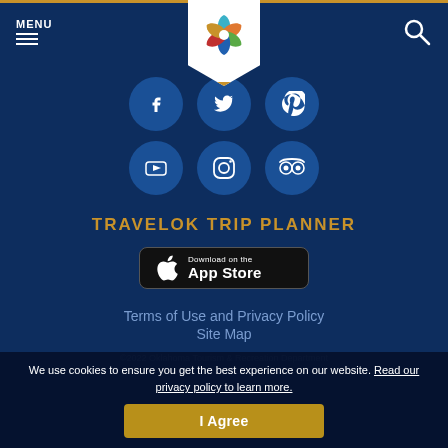MENU [hamburger icon] [logo] [search icon]
[Figure (logo): Oklahoma Tourism star logo badge with colorful geometric pieces, mounted above the nav bar]
[Figure (infographic): Six social media icon circles: Facebook, Twitter, Pinterest (top row); YouTube, Instagram, TripAdvisor (bottom row)]
TRAVELOK TRIP PLANNER
[Figure (screenshot): Download on the App Store button (black rounded rectangle with Apple logo)]
Terms of Use and Privacy Policy
Site Map
©2022 Oklahoma Tourism & Recreation Department
We use cookies to ensure you get the best experience on our website. Read our privacy policy to learn more.
I Agree